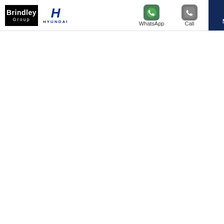[Figure (logo): Brindley Group and Hyundai logos in navigation bar]
[Figure (logo): WhatsApp contact button with icon]
[Figure (logo): Call contact button with phone icon]
[Figure (screenshot): Navy blue Menu button with hamburger lines]